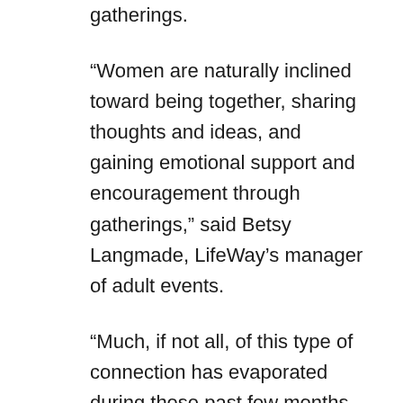gatherings.
“Women are naturally inclined toward being together, sharing thoughts and ideas, and gaining emotional support and encouragement through gatherings,” said Betsy Langmade, LifeWay’s manager of adult events.
“Much, if not all, of this type of connection has evaporated during these past few months. And women are frustrated, fearful, feel powerless, and unable to find their footing in the chaos.”
LifeWay Women Live will feature key LifeWay women’s authors and Bible teachers: Priscilla Shirer, Jackie Hill Perry, Beth Moore, Angie